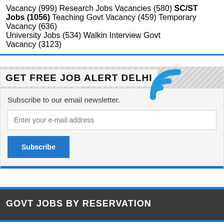Vacancy (999) Research Jobs Vacancies (580) SC/ST Jobs (1056) Teaching Govt Vacancy (459) Temporary Vacancy (636) University Jobs (534) Walkin Interview Govt Vacancy (3123)
GET FREE JOB ALERT DELHI
Subscribe to our email newsletter.
GOVT JOBS BY RESERVATION